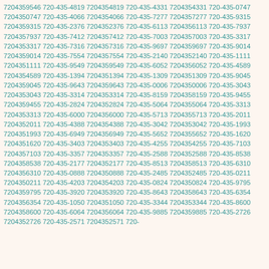7204359546 720-435-4819 7204354819 720-435-4331 7204354331 720-435-0747 7204350747 720-435-4066 7204354066 720-435-7277 7204357277 720-435-9315 7204359315 720-435-2376 7204352376 720-435-6113 7204356113 720-435-7937 7204357937 720-435-7412 7204357412 720-435-7003 7204357003 720-435-3317 7204353317 720-435-7316 7204357316 720-435-9697 7204359697 720-435-9014 7204359014 720-435-7554 7204357554 720-435-2140 7204352140 720-435-1111 7204351111 720-435-9549 7204359549 720-435-6052 7204356052 720-435-4589 7204354589 720-435-1394 7204351394 720-435-1309 7204351309 720-435-9045 7204359045 720-435-9643 7204359643 720-435-0006 7204350006 720-435-3043 7204353043 720-435-3314 7204353314 720-435-8159 7204358159 720-435-9455 7204359455 720-435-2824 7204352824 720-435-5064 7204355064 720-435-3313 7204353313 720-435-6000 7204356000 720-435-5713 7204355713 720-435-2011 7204352011 720-435-4388 7204354388 720-435-3042 7204353042 720-435-1993 7204351993 720-435-6949 7204356949 720-435-5652 7204355652 720-435-1620 7204351620 720-435-3403 7204353403 720-435-4255 7204354255 720-435-7103 7204357103 720-435-3357 7204353357 720-435-2588 7204352588 720-435-8538 7204358538 720-435-2177 7204352177 720-435-8513 7204358513 720-435-6310 7204356310 720-435-0888 7204350888 720-435-2485 7204352485 720-435-0211 7204350211 720-435-4203 7204354203 720-435-0824 7204350824 720-435-9795 7204359795 720-435-3920 7204353920 720-435-8643 7204358643 720-435-6354 7204356354 720-435-1050 7204351050 720-435-3344 7204353344 720-435-8600 7204358600 720-435-6064 7204356064 720-435-9885 7204359885 720-435-2726 7204352726 720-435-2571 7204352571 720-